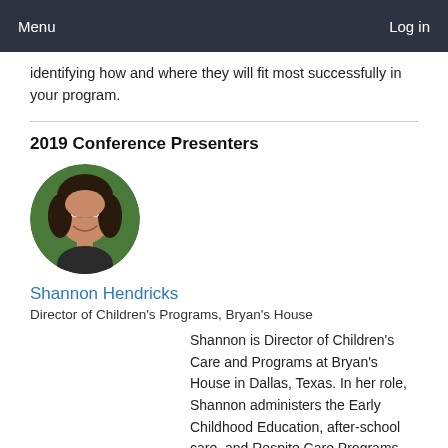Menu   Log in
identifying how and where they will fit most successfully in your program.
2019 Conference Presenters
[Figure (photo): Circular headshot of Shannon Hendricks, a woman with dark hair, smiling, against a green outdoor background.]
Shannon Hendricks
Director of Children's Programs, Bryan's House
Shannon is Director of Children's Care and Programs at Bryan's House in Dallas, Texas. In her role, Shannon administers the Early Childhood Education, after-school care, and Respite Care Programs. Bryan's